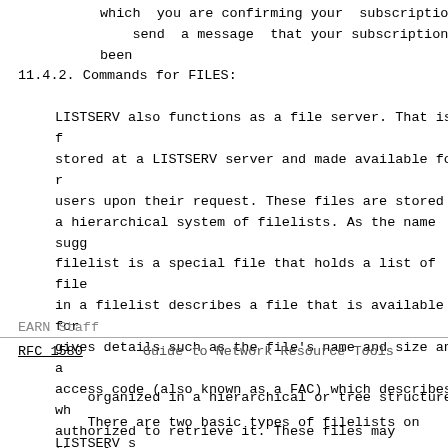which  you are confirming your  subscription. LIS
    send  a message  that your subscription has been
11.4.2. Commands for FILES:
LISTSERV also functions as a file server. That is, f
stored at a LISTSERV server and made available for r
users upon their request. These files are stored in
a hierarchical system of filelists. As the name sugg
filelist is a special file that holds a list of file
in a filelist describes a file that is available for
gives details such as the file's name and size and a
access code (also known as a FAC) which describes wh
authorized to retrieve it. These files may themselve
filelists, in which case they too will hold informat
available files or further filelists. In this way, f
EARN Staff
RFC 1580          Guide to Network Resource Tools
organized in a hierarchical or tree structure.
There are two basic types of filelists on LISTSERV s
first type holds files that have been specifically p
file owners or LISTSERV administrators. These files